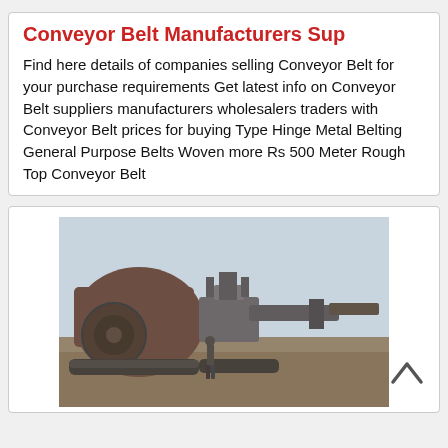Conveyor Belt Manufacturers Sup
Find here details of companies selling Conveyor Belt for your purchase requirements Get latest info on Conveyor Belt suppliers manufacturers wholesalers traders with Conveyor Belt prices for buying Type Hinge Metal Belting General Purpose Belts Woven more Rs 500 Meter Rough Top Conveyor Belt
[Figure (photo): Outdoor industrial scene showing large heavy mining/crushing machinery with a person standing in front of it on dirt ground, overcast sky in background.]